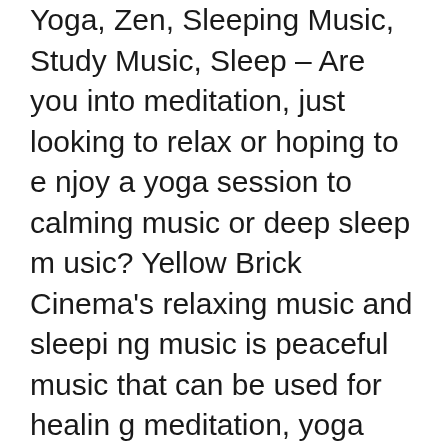Yoga, Zen, Sleeping Music, Study Music, Sleep – Are you into meditation, just looking to relax or hoping to enjoy a yoga session to calming music or deep sleep music? Yellow Brick Cinema's relaxing music and sleeping music is peaceful music that can be used for healing meditation, yoga music, soft music, massage music, relax music, or as study music. Because our calming music works as music therapy and uses meditation music and beautiful piano music, it is deeply soothing music that can be used as deep sleep music to make you sleepy. As such, it is ideal stress relief music and can therefore be used at home or in a spa for healing meditation in order to relax. Our calm music, enhanced with the soothing sounds of the piano, is sure to offer soothing relaxation.
Use this soothing music as relaxing music to sleep, relax and promote healing meditation and Zen. Achieve a state of Zen or Zen meditation by listening to Yellow